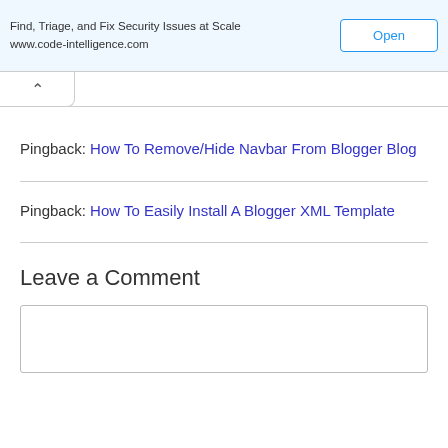Find, Triage, and Fix Security Issues at Scale
www.code-intelligence.com
Open
Pingback: How To Remove/Hide Navbar From Blogger Blog
Pingback: How To Easily Install A Blogger XML Template
Leave a Comment